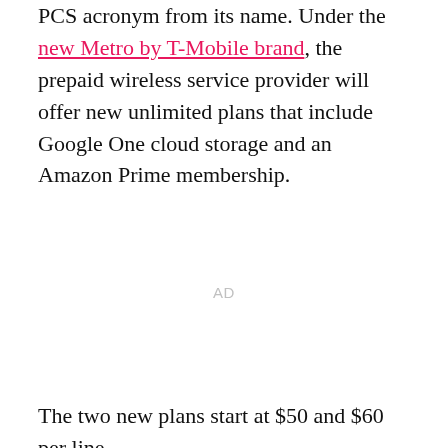PCS acronym from its name. Under the new Metro by T-Mobile brand, the prepaid wireless service provider will offer new unlimited plans that include Google One cloud storage and an Amazon Prime membership.
AD
The two new plans start at $50 and $60 per line,